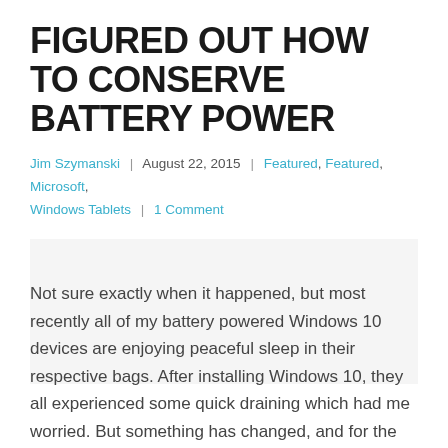FIGURED OUT HOW TO CONSERVE BATTERY POWER
Jim Szymanski  |  August 22, 2015  |  Featured, Featured, Microsoft, Windows Tablets  |  1 Comment
[Figure (other): Blank image placeholder area]
Not sure exactly when it happened, but most recently all of my battery powered Windows 10 devices are enjoying peaceful sleep in their respective bags. After installing Windows 10, they all experienced some quick draining which had me worried. But something has changed, and for the better. I'll admit it, I'm a habitual meter watcher. From the second I unplug a device from its AC life support I start monitoring the battery meter, trying to understand the whats and whys of battery drain. Until our Wi-Fi